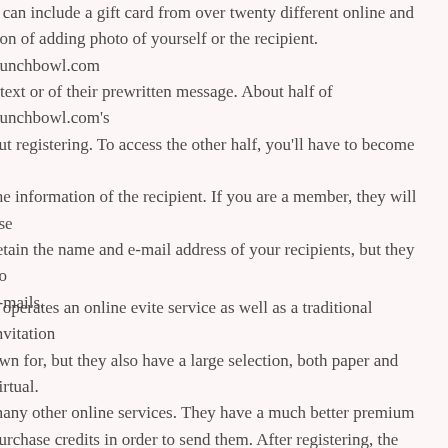u can include a gift card from over twenty different online and tion of adding photo of yourself or the recipient. Punchbowl.com r text or of their prewritten message. About half of Punchbowl.com's out registering. To access the other half, you'll have to become a the information of the recipient. If you are a member, they will use retain the name and e-mail address of your recipients, but they do e-mails.
n operates an online evite service as well as a traditional invitation own for, but they also have a large selection, both paper and virtual. many other online services. They have a much better premium purchase credits in order to send them. After registering, the process ishing touches is very straightforward. All senders are required to ebook. The website collects and shares your personal information ou send evites to others, it retains the information and may use it to of the site.